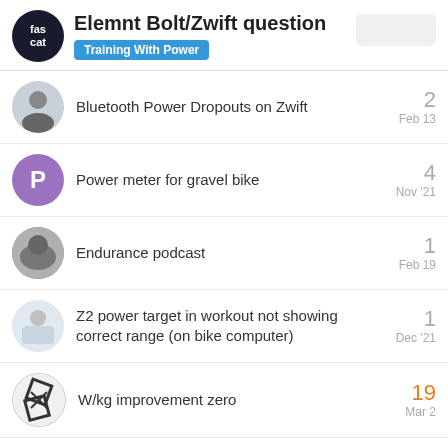Elemnt Bolt/Zwift question
Training With Power
Bluetooth Power Dropouts on Zwift — 2 replies — Feb 13
Power meter for gravel bike — 4 replies — Nov '21
Endurance podcast — 1 reply — Feb 19
Z2 power target in workout not showing correct range (on bike computer) — 1 reply — Dec '21
W/kg improvement zero — 19 replies — Mar 2
Want to read more? Browse other topics in
Training With Power or view latest topics